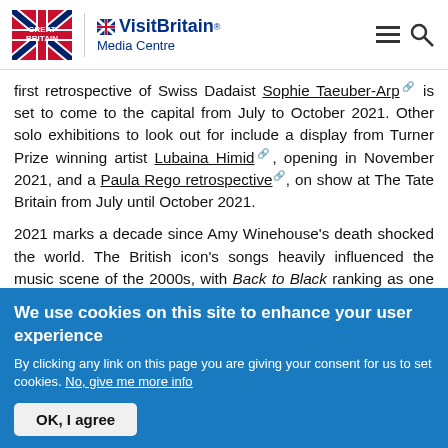Great Britain | VisitBritain Media Centre
first retrospective of Swiss Dadaist Sophie Taeuber-Arp is set to come to the capital from July to October 2021. Other solo exhibitions to look out for include a display from Turner Prize winning artist Lubaina Himid, opening in November 2021, and a Paula Rego retrospective, on show at The Tate Britain from July until October 2021.
2021 marks a decade since Amy Winehouse's death shocked the world. The British icon's songs heavily influenced the music scene of the 2000s, with Back to Black ranking as one of the UK's best-selling albums of the 21st century. Visitors can plan to pay homage to the smoky-voiced 'Queen of Camden'
We use cookies on this site to enhance your user experience
By clicking any link on this page you are giving your consent for us to set cookies. No, give me more info
OK, I agree